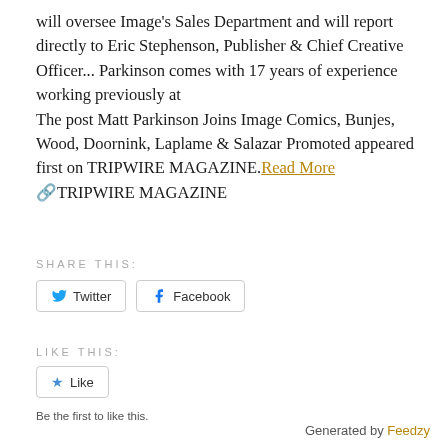will oversee Image's Sales Department and will report directly to Eric Stephenson, Publisher & Chief Creative Officer... Parkinson comes with 17 years of experience working previously at The post Matt Parkinson Joins Image Comics, Bunjes, Wood, Doornink, Laplame & Salazar Promoted appeared first on TRIPWIRE MAGAZINE. Read More TRIPWIRE MAGAZINE
SHARE THIS:
Twitter   Facebook
LIKE THIS:
Like
Be the first to like this.
Generated by Feedzy